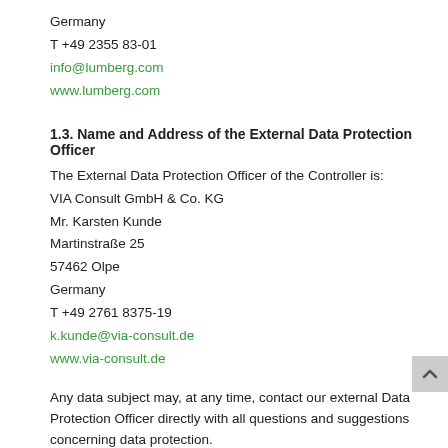Germany
T +49 2355 83-01
info@lumberg.com
www.lumberg.com
1.3. Name and Address of the External Data Protection Officer
The External Data Protection Officer of the Controller is:
VIA Consult GmbH & Co. KG
Mr. Karsten Kunde
Martinstraße 25
57462 Olpe
Germany
T +49 2761 8375-19
k.kunde@via-consult.de
www.via-consult.de
Any data subject may, at any time, contact our external Data Protection Officer directly with all questions and suggestions concerning data protection.
1.4. Cookies